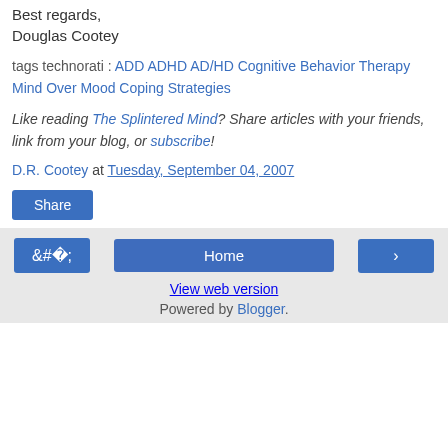Best regards,
Douglas Cootey
tags technorati : ADD ADHD AD/HD Cognitive Behavior Therapy Mind Over Mood Coping Strategies
Like reading The Splintered Mind? Share articles with your friends, link from your blog, or subscribe!
D.R. Cootey at Tuesday, September 04, 2007
Share
Home | View web version | Powered by Blogger.